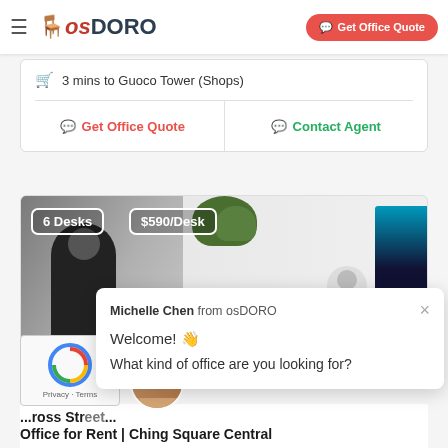osDORO — Get Office Quote
3 mins to Guoco Tower (Shops)
Get Office Quote | Contact Agent
[Figure (photo): Office interior photo showing people working, with overlaid badges: 6 Desks, $590/Desk]
Michelle Chen from osDORO
Welcome! 👋
What kind of office are you looking for?
...cross Street... Office for Rent | Ching Square Central